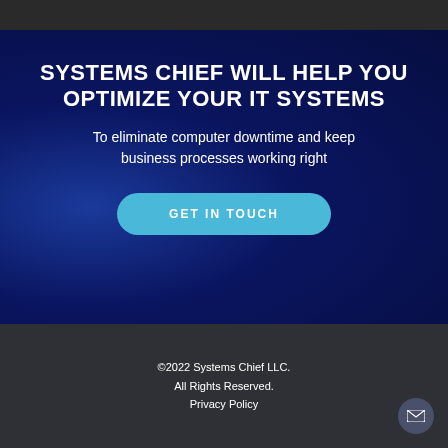SYSTEMS CHIEF WILL HELP YOU OPTIMIZE YOUR IT SYSTEMS
To eliminate computer downtime and keep business processes working right
GET IN TOUCH
©2022 Systems Chief LLC.
All Rights Reserved.
Privacy Policy